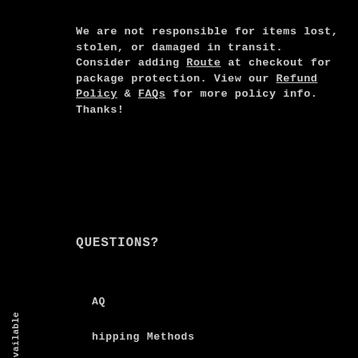We are not responsible for items lost, stolen, or damaged in transit. Consider adding Route at checkout for package protection. View our Refund Policy & FAQs for more policy info. Thanks!
QUESTIONS?
AQ
hipping Methods
ayment
re-orders
.efund Policy
Privacy Policy
Notify Me When Available